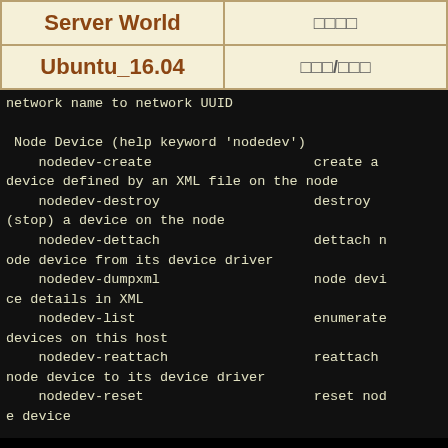| Server World | □□□□ |
| --- | --- |
| Ubuntu_16.04 | □□□/□□□ |
network name to network UUID

 Node Device (help keyword 'nodedev')
    nodedev-create                    create a device defined by an XML file on the node
    nodedev-destroy                   destroy (stop) a device on the node
    nodedev-dettach                   dettach node device from its device driver
    nodedev-dumpxml                   node device details in XML
    nodedev-list                      enumerate devices on this host
    nodedev-reattach                  reattach node device to its device driver
    nodedev-reset                     reset node e device

 Secret (help keyword 'secret')
    secret-define                     define or